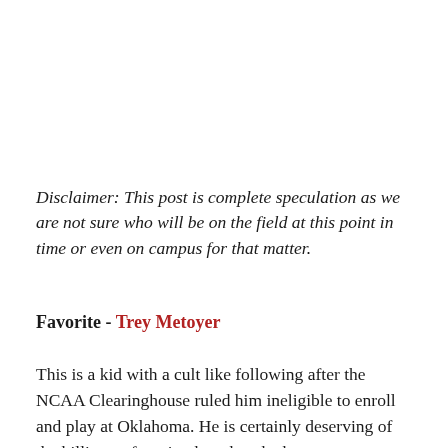Disclaimer: This post is complete speculation as we are not sure who will be on the field at this point in time or even on campus for that matter.
Favorite - Trey Metoyer
This is a kid with a cult like following after the NCAA Clearinghouse ruled him ineligible to enroll and play at Oklahoma. He is certainly deserving of the billing as favorite though as he has an uncanny ability to